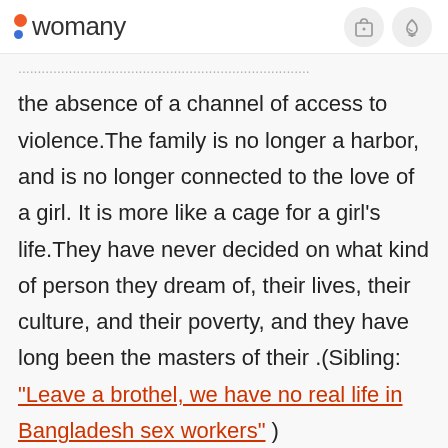womany
the absence of a channel of access to violence.The family is no longer a harbor, and is no longer connected to the love of a girl. It is more like a cage for a girl's life.They have never decided on what kind of person they dream of, their lives, their culture, and their poverty, and they have long been the masters of their .(Sibling: "Leave a brothel, we have no real life in Bangladesh sex workers" )